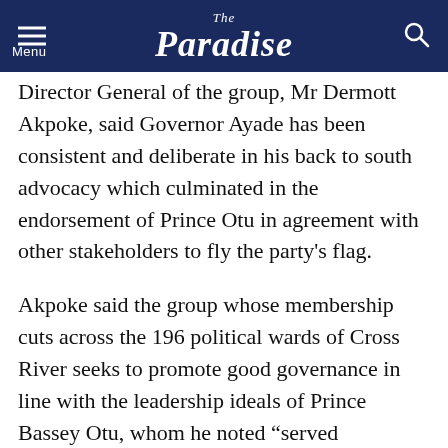The Paradise
Director General of the group, Mr Dermott Akpoke, said Governor Ayade has been consistent and deliberate in his back to south advocacy which culminated in the endorsement of Prince Otu in agreement with other stakeholders to fly the party’s flag.
Akpoke said the group whose membership cuts across the 196 political wards of Cross River seeks to promote good governance in line with the leadership ideals of Prince Bassey Otu, whom he noted “served creditably well as a member of the House of Representatives and Senator of the Federal Republic of Nigeria, contributing to legislation that has advanced